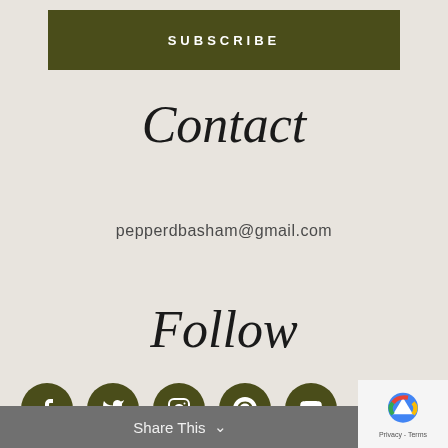SUBSCRIBE
Contact
pepperdbasham@gmail.com
Follow
[Figure (illustration): Five olive-green circular social media icons: Facebook, Twitter, Instagram, Pinterest, YouTube]
Share This
[Figure (logo): reCAPTCHA logo with Privacy - Terms text]